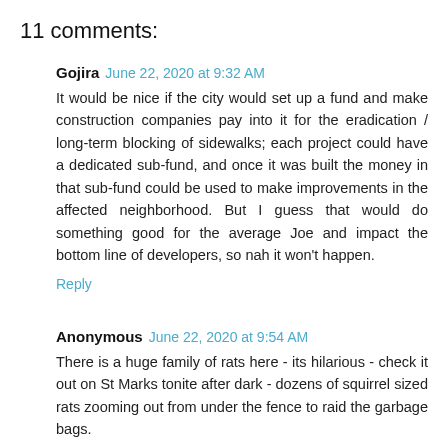11 comments:
Gojira  June 22, 2020 at 9:32 AM

It would be nice if the city would set up a fund and make construction companies pay into it for the eradication / long-term blocking of sidewalks; each project could have a dedicated sub-fund, and once it was built the money in that sub-fund could be used to make improvements in the affected neighborhood. But I guess that would do something good for the average Joe and impact the bottom line of developers, so nah it won't happen.

Reply
Anonymous  June 22, 2020 at 9:54 AM

There is a huge family of rats here - its hilarious - check it out on St Marks tonite after dark - dozens of squirrel sized rats zooming out from under the fence to raid the garbage bags.